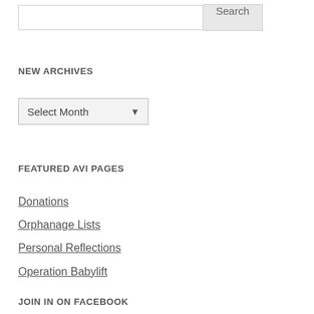Search
NEW ARCHIVES
Select Month
FEATURED AVI PAGES
Donations
Orphanage Lists
Personal Reflections
Operation Babylift
JOIN IN ON FACEBOOK